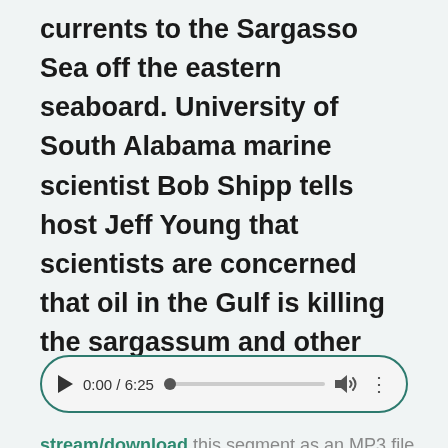currents to the Sargasso Sea off the eastern seaboard. University of South Alabama marine scientist Bob Shipp tells host Jeff Young that scientists are concerned that oil in the Gulf is killing the sargassum and other marine life.
[Figure (other): Audio player widget showing 0:00 / 6:25 with play button, progress bar, volume icon, and more options icon. Styled with teal/dark green border and light gray background.]
stream/download this segment as an MP3 file
Transcript